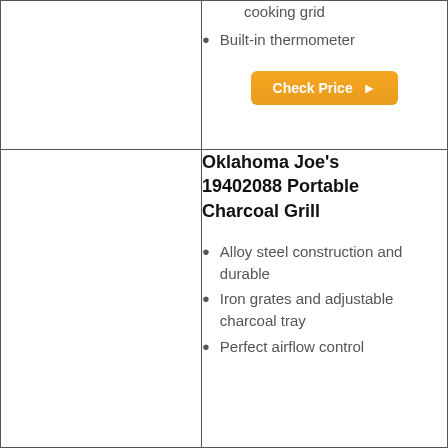cooking grid
Built-in thermometer
Check Price ▶
Oklahoma Joe's 19402088 Portable Charcoal Grill
Alloy steel construction and durable
Iron grates and adjustable charcoal tray
Perfect airflow control